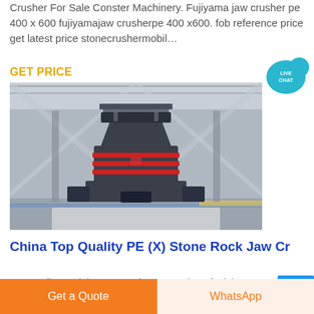Crusher For Sale Conster Machinery. Fujiyama jaw crusher pe 400 x 600 fujiyamajaw crusherpe 400 x600. fob reference price get latest price stonecrushermobil…
GET PRICE
[Figure (photo): Industrial stone crusher / cone crusher machine photographed in a large factory warehouse with steel structural beams and gravel on the ground.]
China Top Quality PE (X) Stone Rock Jaw Cr
Top Quality PE (X) Stone Rock Jaw Crusher of Mining
Get a Quote
WhatsApp